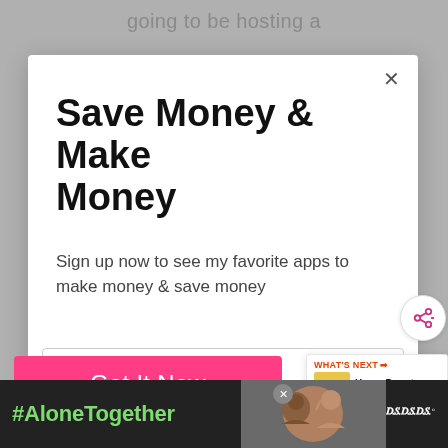going to be hosting a
Save Money & Make Money
Sign up now to see my favorite apps to make money & save money
Email address
Get It Now
WHAT'S NEXT → Home Depot Penny Items...
#AloneTogether